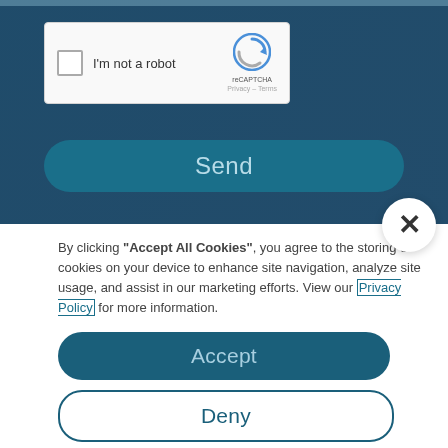[Figure (screenshot): reCAPTCHA widget with checkbox labeled 'I'm not a robot' and reCAPTCHA branding logo, Privacy and Terms links]
[Figure (screenshot): Send button - a teal rounded pill button with the label 'Send' in light blue text]
[Figure (screenshot): Close (X) button - white circular button with X symbol, positioned at the top right of the cookie consent overlay]
By clicking "Accept All Cookies", you agree to the storing of cookies on your device to enhance site navigation, analyze site usage, and assist in our marketing efforts. View our Privacy Policy for more information.
[Figure (screenshot): Accept button - dark teal filled rounded pill button with 'Accept' label in light text]
[Figure (screenshot): Deny button - white rounded pill button with teal border and 'Deny' label in teal text]
[Figure (screenshot): Preferences button - rectangular bordered button with 'Preferences' label in teal text]